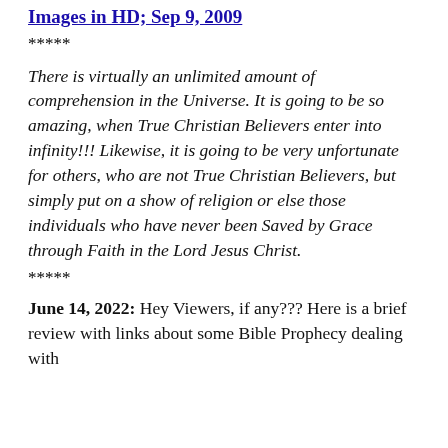Images in HD; Sep 9, 2009
*****
There is virtually an unlimited amount of comprehension in the Universe. It is going to be so amazing, when True Christian Believers enter into infinity!!! Likewise, it is going to be very unfortunate for others, who are not True Christian Believers, but simply put on a show of religion or else those individuals who have never been Saved by Grace through Faith in the Lord Jesus Christ.
*****
June 14, 2022: Hey Viewers, if any??? Here is a brief review with links about some Bible Prophecy dealing with